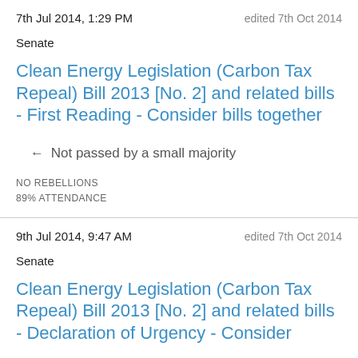7th Jul 2014, 1:29 PM | edited 7th Oct 2014
Senate
Clean Energy Legislation (Carbon Tax Repeal) Bill 2013 [No. 2] and related bills - First Reading - Consider bills together
← Not passed by a small majority
NO REBELLIONS
89% ATTENDANCE
9th Jul 2014, 9:47 AM | edited 7th Oct 2014
Senate
Clean Energy Legislation (Carbon Tax Repeal) Bill 2013 [No. 2] and related bills - Declaration of Urgency - Consider